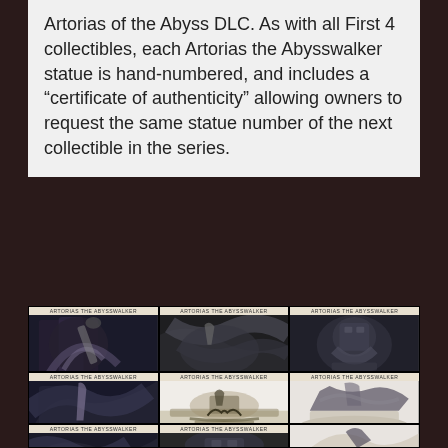Artorias of the Abyss DLC. As with all First 4 collectibles, each Artorias the Abysswalker statue is hand-numbered, and includes a “certificate of authenticity” allowing owners to request the same statue number of the next collectible in the series.
[Figure (photo): 3x3 grid of product photos showing close-up details of the Artorias the Abysswalker Dark Souls collectible statue from First 4 Figures, showing armor, cape, sword, and base details. Each cell labeled 'Artorias the Abysswalker' at top and 'Dark Souls' at bottom.]